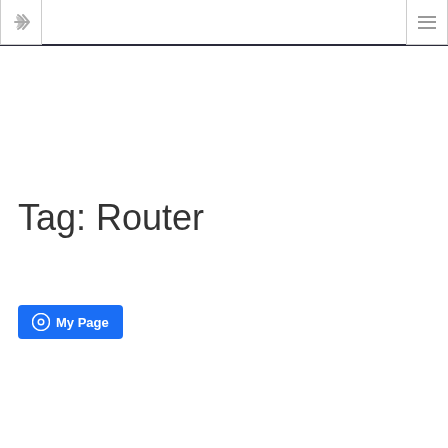Tag: Router
[Figure (other): Blue button labeled 'My Page' with a circular icon on the left]